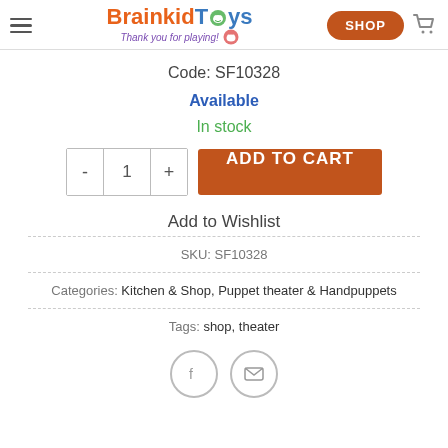BrainkidToys - Thank you for playing! SHOP
Code: SF10328
Available
In stock
- 1 + ADD TO CART
Add to Wishlist
SKU: SF10328
Categories: Kitchen & Shop, Puppet theater & Handpuppets
Tags: shop, theater
[Figure (illustration): Facebook and email share icons in circular borders]